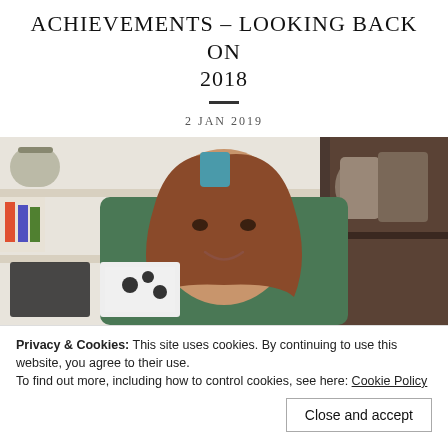ACHIEVEMENTS – LOOKING BACK ON 2018
2 JAN 2019
[Figure (photo): Young woman with long reddish-brown hair, wearing a green top, sitting in front of shelves with handbags and accessories]
Privacy & Cookies: This site uses cookies. By continuing to use this website, you agree to their use.
To find out more, including how to control cookies, see here: Cookie Policy
Close and accept
2016 but it wasn't until the end of 2017 that things started to